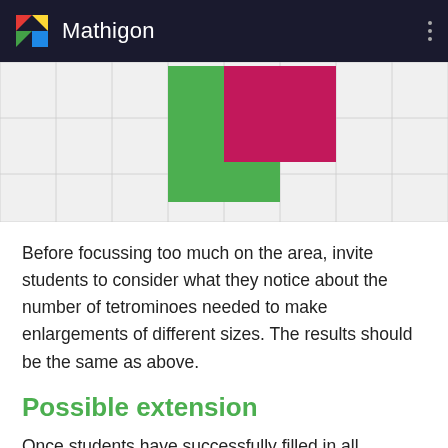Mathigon
[Figure (illustration): Grid background with an L-shaped tetromino made of green squares and a pink/magenta rectangle arrangement on a light grey grid.]
Before focussing too much on the area, invite students to consider what they notice about the number of tetrominoes needed to make enlargements of different sizes. The results should be the same as above.
Possible extension
Once students have successfully filled in all enlargements of the L tetromino, you can challenge them to create similar enlargements and rep-tiles